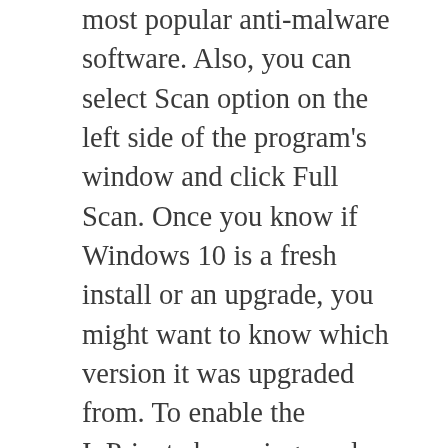most popular anti-malware software. Also, you can select Scan option on the left side of the program's window and click Full Scan. Once you know if Windows 10 is a fresh install or an upgrade, you might want to know which version it was upgraded from. To enable the InPrivate browsing mode, all you need to do is delete the AllowInPrivate key that you added. This tool is dedicated to fixing the corrupted, missing DLL files. Turn on the Set as metered connection toggle switch. If you need to replace or restore DLL files, you can carry out any of the above-mentioned suggestions. To disable the fast user switching interface, paste the following command by copying it and then right-clicking in CMD. Right-click the Start menu, choose Control Panel and under the